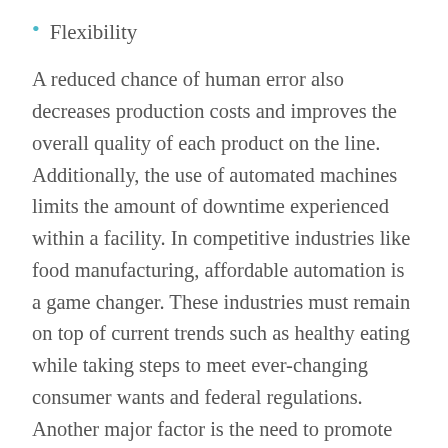Flexibility
A reduced chance of human error also decreases production costs and improves the overall quality of each product on the line. Additionally, the use of automated machines limits the amount of downtime experienced within a facility. In competitive industries like food manufacturing, affordable automation is a game changer. These industries must remain on top of current trends such as healthy eating while taking steps to meet ever-changing consumer wants and federal regulations. Another major factor is the need to promote environmental sustainability in these environments and throughout production.
Automated equipment solutions make it easier to remain on top of these trends and allow companies to remain competitive in an industry with already tight profit margins. This option allows businesses to better support new product lines or processes at a lower overall cost. Automation also makes it easier to